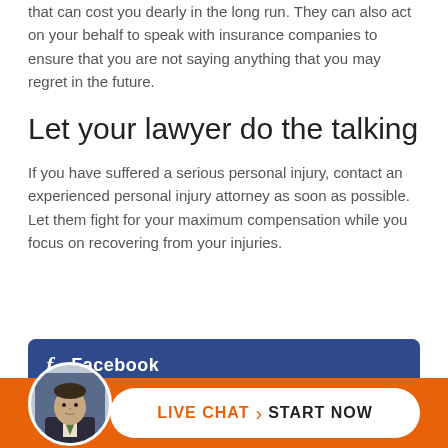that can cost you dearly in the long run. They can also act on your behalf to speak with insurance companies to ensure that you are not saying anything that you may regret in the future.
Let your lawyer do the talking
If you have suffered a serious personal injury, contact an experienced personal injury attorney as soon as possible. Let them fight for your maximum compensation while you focus on recovering from your injuries.
[Figure (infographic): Facebook social share button (blue bar with Facebook 'f' icon and 'Facebook' text) and a Live Chat Start Now button on an orange bar with a circular avatar photo of a man in a suit.]